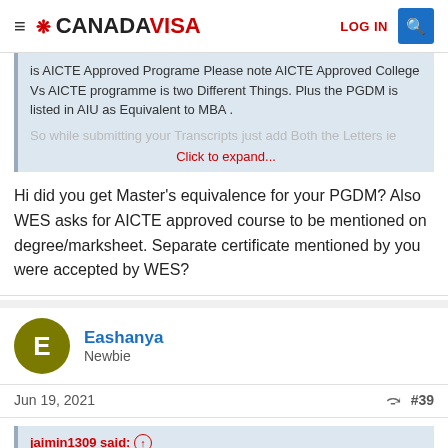CANADAVISA — LOG IN
is AICTE Approved Programe Please note AICTE Approved College Vs AICTE programme is two Different Things. Plus the PGDM is listed in AIU as Equivalent to MBA .
So while submitting your Transcripts just add Both the Letters ie
Click to expand...
Hi did you get Master's equivalence for your PGDM? Also WES asks for AICTE approved course to be mentioned on degree/marksheet. Separate certificate mentioned by you were accepted by WES?
Eashanya
Newbie
Jun 19, 2021  #39
jaimin1309 said: ↑
Hello S...